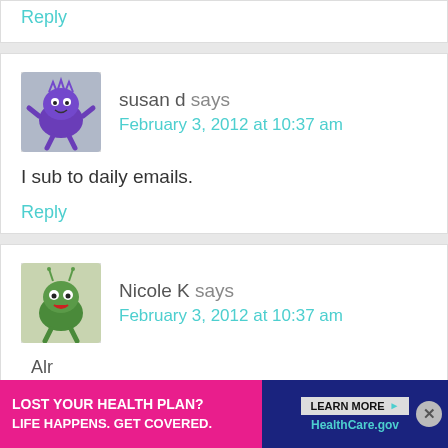Reply
susan d says
February 3, 2012 at 10:37 am
I sub to daily emails.
Reply
Nicole K says
February 3, 2012 at 10:37 am
[Figure (other): Advertisement banner: LOST YOUR HEALTH PLAN? LIFE HAPPENS. GET COVERED. LEARN MORE HealthCare.gov]